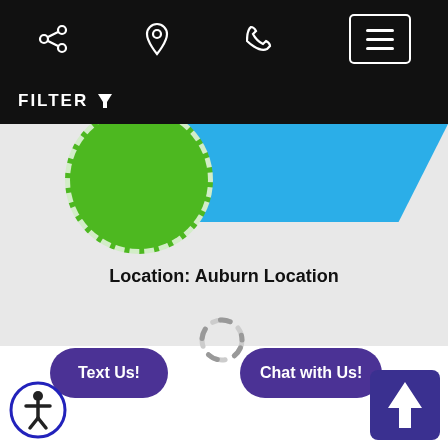[Figure (screenshot): Mobile website navigation bar with share icon, location pin icon, phone icon, and hamburger menu button, all white on black background]
FILTER
[Figure (screenshot): Partial card showing blue banner and green circular logo badge]
Location: Auburn Location
[Figure (screenshot): Loading spinner (animated arc) in light gray]
Text Us!
Chat with Us!
[Figure (screenshot): Accessibility icon button (person in circle) in bottom left]
[Figure (screenshot): Back to top button (upward arrow in dark purple square) in bottom right]